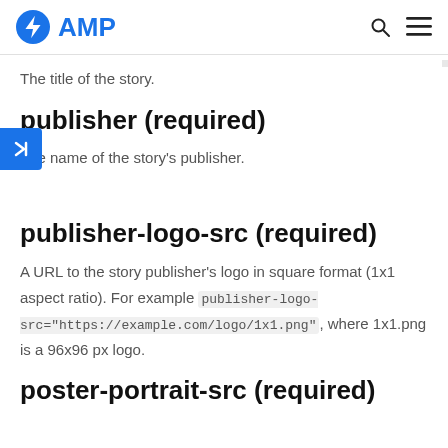AMP
The title of the story.
publisher (required)
The name of the story's publisher.
publisher-logo-src (required)
A URL to the story publisher's logo in square format (1x1 aspect ratio). For example publisher-logo-src="https://example.com/logo/1x1.png", where 1x1.png is a 96x96 px logo.
poster-portrait-src (required)